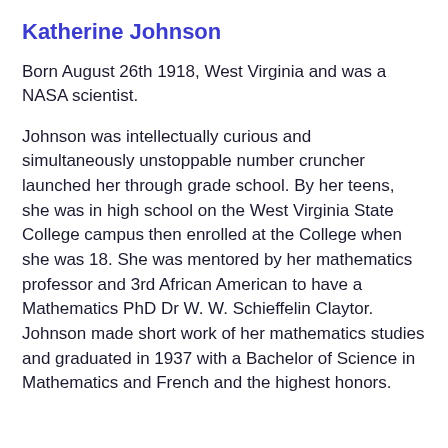Katherine Johnson
Born August 26th 1918, West Virginia and was a NASA scientist.
Johnson was intellectually curious and simultaneously unstoppable number cruncher launched her through grade school. By her teens, she was in high school on the West Virginia State College campus then enrolled at the College when she was 18. She was mentored by her mathematics professor and 3rd African American to have a Mathematics PhD Dr W. W. Schieffelin Claytor. Johnson made short work of her mathematics studies and graduated in 1937 with a Bachelor of Science in Mathematics and French and the highest honors.